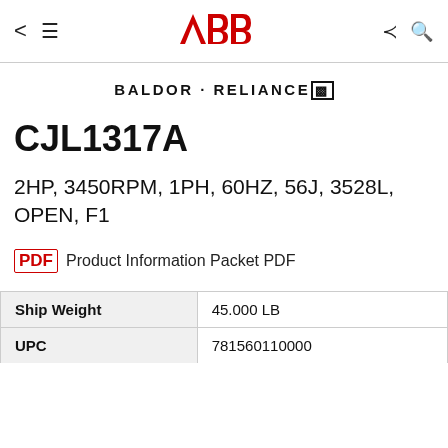< ≡  ABB  ≪ 🔍
[Figure (logo): BALDOR · RELIANCE logo in bold black serif-style lettering with a small flag/R logo]
CJL1317A
2HP, 3450RPM, 1PH, 60HZ, 56J, 3528L, OPEN, F1
Product Information Packet PDF
| Ship Weight | 45.000 LB |
| UPC | 781560110000 |